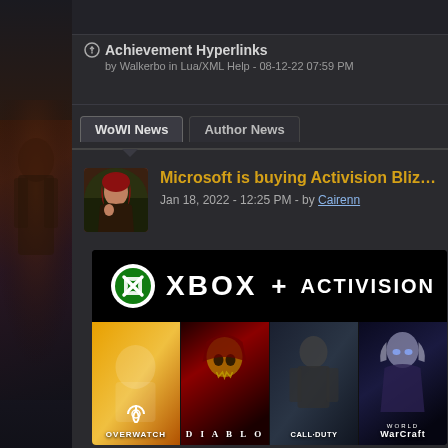Achievement Hyperlinks
by Walkerbo in Lua/XML Help - 08-12-22 07:59 PM
WoWI News | Author News
Microsoft is buying Activision Blizzard
Jan 18, 2022 - 12:25 PM - by Cairenn
[Figure (screenshot): Xbox + Activision Blizzard promotional banner showing Xbox logo, XBOX text, + ACTIVISION text, and game thumbnails for Overwatch, Diablo, Call of Duty, and World of Warcraft]